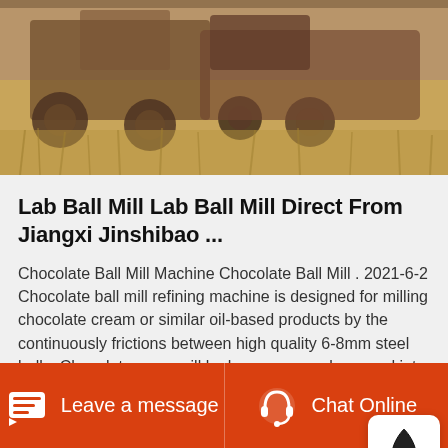[Figure (photo): Photograph of old rusty machinery/vehicles in a field of dry grass]
Lab Ball Mill Lab Ball Mill Direct From Jiangxi Jinshibao ...
Chocolate Ball Mill Machine Chocolate Ball Mill . 2021-6-2 Chocolate ball mill refining machine is designed for milling chocolate cream or similar oil-based products by the continuously frictions between high quality 6-8mm steel balls. Chocolate mass will be homogeneously ground into Ball Mill – Hunan Slon Equipment Co.,Ltd,Ball Mill.
Leave a message   Chat Online